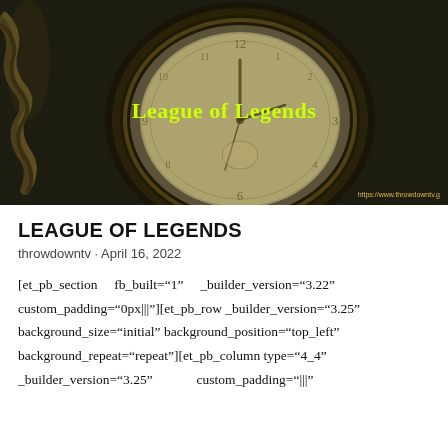[Figure (photo): Dark background photo of a vintage pocket watch with ornate engravings. Text 'League of Legends' in yellow overlaid on the image. Watermark 'https://www.throwdowntv.g' visible in bottom right.]
LEAGUE OF LEGENDS
throwdowntv · April 16, 2022
[et_pb_section fb_built="1" _builder_version="3.22" custom_padding="0px|||"][et_pb_row _builder_version="3.25" background_size="initial" background_position="top_left" background_repeat="repeat"][et_pb_column type="4_4" _builder_version="3.25" custom_padding="|||